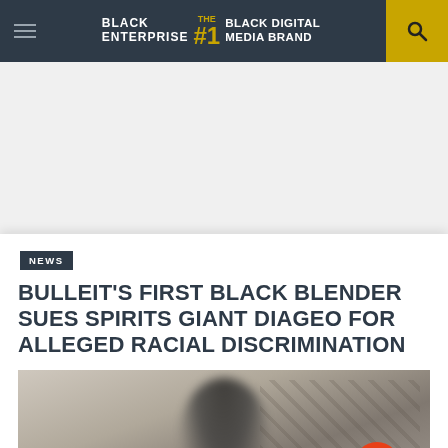BLACK ENTERPRISE THE #1 BLACK DIGITAL MEDIA BRAND
[Figure (other): Advertisement / white space area below header]
NEWS
BULLEIT'S FIRST BLACK BLENDER SUES SPIRITS GIANT DIAGEO FOR ALLEGED RACIAL DISCRIMINATION
[Figure (photo): Blurred photo of a person, partially visible, with a patterned background]